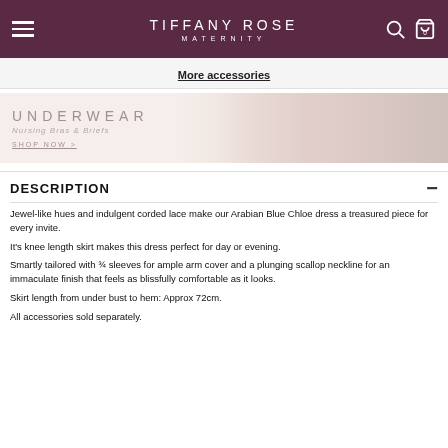TIFFANY ROSE MATERNITY
More accessories
[Figure (photo): Underwear banner showing 'UNDERWEAR Nursing Bras & Briefs SHOP NOW >' with a model wearing white lingerie on a pink/cream background]
DESCRIPTION
Jewel-like hues and indulgent corded lace make our Arabian Blue Chloe dress a treasured piece for every invite.
It's knee length skirt makes this dress perfect for day or evening.
Smartly tailored with ¾ sleeves for ample arm cover and a plunging scallop neckline for an immaculate finish that feels as blissfully comfortable as it looks.
Skirt length from under bust to hem: Approx 72cm.
All accessories sold separately.